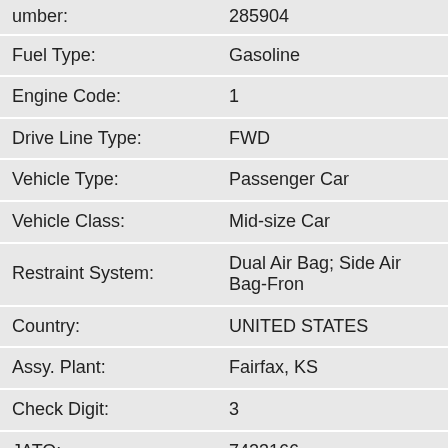| Field | Value |
| --- | --- |
| umber: | 285904 |
| Fuel Type: | Gasoline |
| Engine Code: | 1 |
| Drive Line Type: | FWD |
| Vehicle Type: | Passenger Car |
| Vehicle Class: | Mid-size Car |
| Restraint System: | Dual Air Bag; Side Air Bag-Fron |
| Country: | UNITED STATES |
| Assy. Plant: | Fairfax, KS |
| Check Digit: | 3 |
| JATO: | 7423166 |
| MPG: | S6:22-33-26 |
| AAIA: | 155721/155722 |
| AAIA_ENGINE: | 13764 |
| AAIA_LEGACY: | 1446667 |